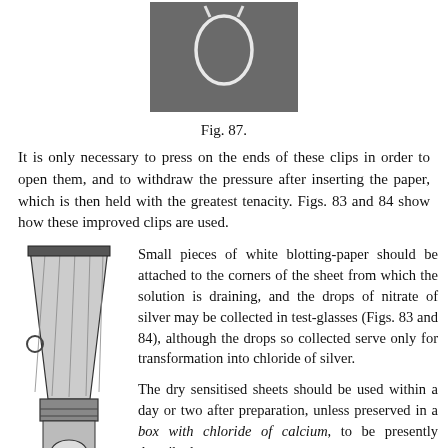[Figure (photo): Black and white photograph of a wire or string loop/clip against a dark textured background, viewed from above.]
Fig. 87.
It is only necessary to press on the ends of these clips in order to open them, and to withdraw the pressure after inserting the paper, which is then held with the greatest tenacity. Figs. 83 and 84 show how these improved clips are used.
[Figure (illustration): Black and white engraving/illustration of a darkroom paper holder or clip device, showing a wedge-shaped clamp with a small circular handle on the side.]
Small pieces of white blotting-paper should be attached to the corners of the sheet from which the solution is draining, and the drops of nitrate of silver may be collected in test-glasses (Figs. 83 and 84), although the drops so collected serve only for transformation into chloride of silver.

The dry sensitised sheets should be used within a day or two after preparation, unless preserved in a box with chloride of calcium, to be presently described.

The silver-bath may, of course, be used until it is exhausted, remembering always to add the half amount of nitrate of silver (see p. 133, chap. 8)...